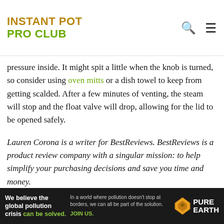INSTANT POT PRO CLUB
pressure inside. It might spit a little when the knob is turned, so consider using oven mitts or a dish towel to keep from getting scalded. After a few minutes of venting, the steam will stop and the float valve will drop, allowing for the lid to be opened safely.
Lauren Corona is a writer for BestReviews. BestReviews is a product review company with a singular mission: to help simplify your purchasing decisions and save you time and money.
BestReviews spends thousands of hours researching, analyzing and testing products to recommend the best picks
[Figure (advertisement): Pure Earth advertisement banner: 'We believe the global pollution crisis can be solved.' with Pure Earth logo on dark background.]